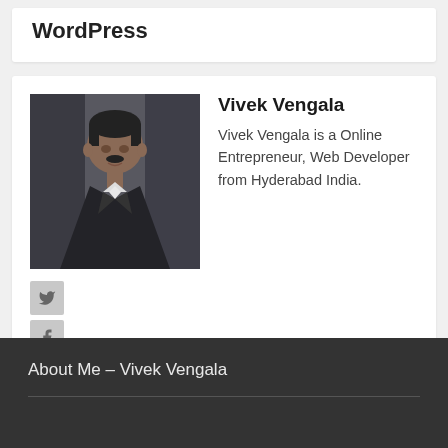WordPress
[Figure (photo): Portrait photo of Vivek Vengala in a dark suit]
Vivek Vengala
Vivek Vengala is a Online Entrepreneur, Web Developer from Hyderabad India.
About Me – Vivek Vengala